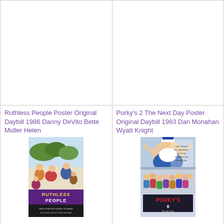[Figure (photo): Blank white area - top left cell, product image not loaded]
[Figure (photo): Blank white area - top right cell, product image not loaded]
Ruthless People Poster Original Daybill 1986 Danny DeVito Bette Midler Helen
[Figure (photo): Movie poster for Ruthless People (1986) - colorful illustrated poster showing cast members, title text 'Ruthless People' in purple/gold, credits at bottom]
Porky's 2 The Next Day Poster Original Daybill 1983 Dan Monahan Wyatt Knight
[Figure (photo): Movie poster for Porky's 2 The Next Day (1983) - photo of large woman in sailor outfit at top, group of young people below, Porky's II logo in red/white]